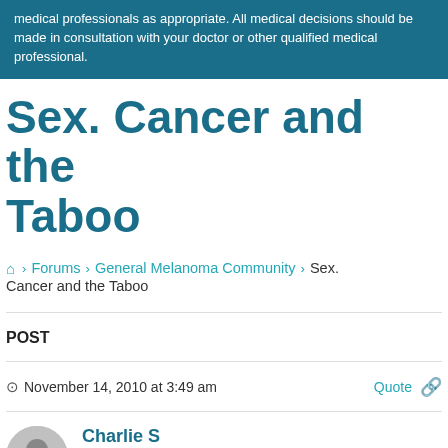medical professionals as appropriate. All medical decisions should be made in consultation with your doctor or other qualified medical professional.
Sex. Cancer and the Taboo
🏠 › Forums › General Melanoma Community › Sex. Cancer and the Taboo
POST
November 14, 2010 at 3:49 am
Quote
Charlie S
Participant